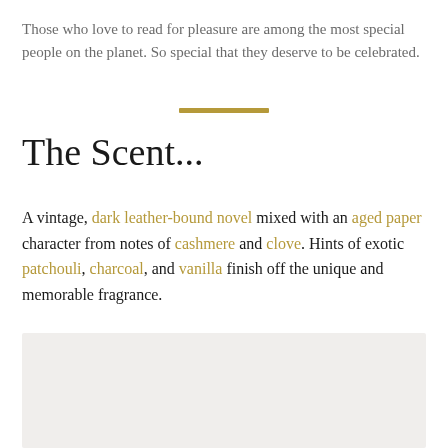Those who love to read for pleasure are among the most special people on the planet. So special that they deserve to be celebrated.
[Figure (other): A short gold horizontal divider bar]
The Scent...
A vintage, dark leather-bound novel mixed with an aged paper character from notes of cashmere and clove. Hints of exotic patchouli, charcoal, and vanilla finish off the unique and memorable fragrance.
[Figure (other): Light gray rectangular box at bottom of page]